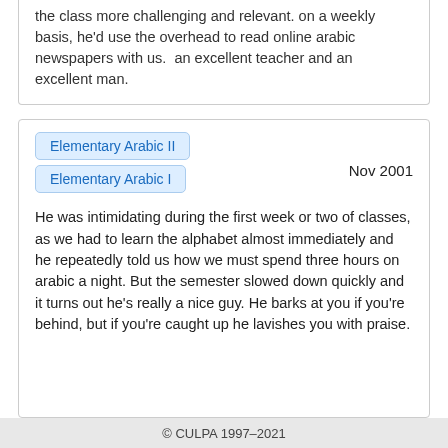the class more challenging and relevant. on a weekly basis, he'd use the overhead to read online arabic newspapers with us.  an excellent teacher and an excellent man.
Elementary Arabic II
Elementary Arabic I
Nov 2001
He was intimidating during the first week or two of classes, as we had to learn the alphabet almost immediately and he repeatedly told us how we must spend three hours on arabic a night. But the semester slowed down quickly and it turns out he's really a nice guy. He barks at you if you're behind, but if you're caught up he lavishes you with praise.
© CULPA 1997–2021